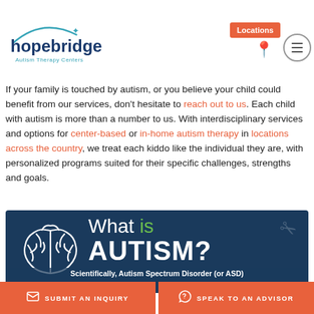hopebridge Autism Therapy Centers — Locations
If your family is touched by autism, or you believe your child could benefit from our services, don't hesitate to reach out to us. Each child with autism is more than a number to us. With interdisciplinary services and options for center-based or in-home autism therapy in locations across the country, we treat each kiddo like the individual they are, with personalized programs suited for their specific challenges, strengths and goals.
[Figure (infographic): Dark navy infographic banner with a white brain outline illustration on the left, and text reading 'What is AUTISM?' with 'is' in green and 'AUTISM?' in large bold white letters. Scissors icon faintly visible on the right side.]
Scientifically, Autism Spectrum Disorder (or ASD)